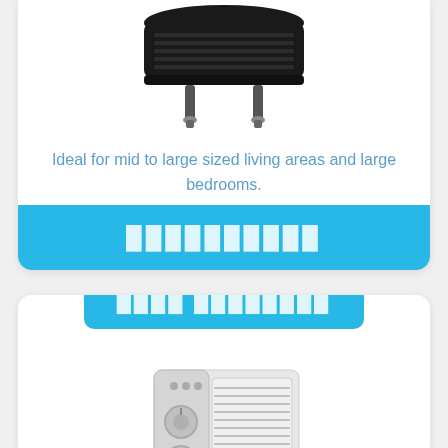[Figure (photo): Black ceiling fan or exhaust fan viewed from below, with two plug prongs visible at the bottom]
Ideal for mid to large sized living areas and large bedrooms.
██████████
████ ████████
[Figure (photo): White window air conditioner unit with control panel showing dials and buttons, and horizontal louver vents]